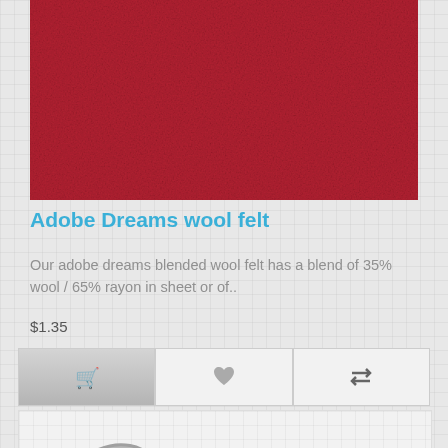[Figure (photo): Close-up photo of dark red/crimson adobe dreams wool felt fabric texture]
Adobe Dreams wool felt
Our adobe dreams blended wool felt has a blend of 35% wool / 65% rayon in sheet or of..
$1.35
[Figure (illustration): Gray stylized swoosh or curved needle/tool logo shape on light background]